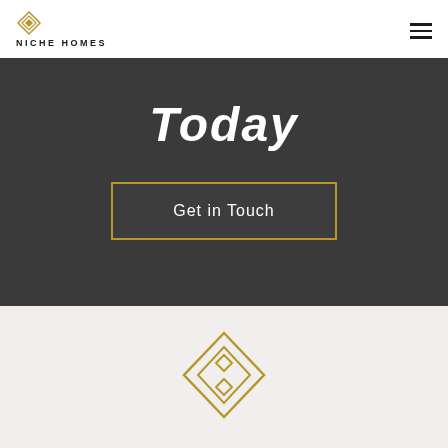NICHE HOMES
Today
Get in Touch
[Figure (logo): Niche Homes diamond logo mark in gold color]